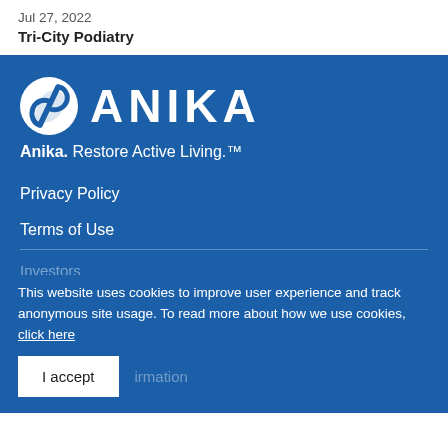Jul 27, 2022
Tri-City Podiatry
[Figure (logo): Anika logo — circular icon with stylized figure and letter A, followed by the word ANIKA in bold white capital letters on a blue background]
Anika. Restore Active Living.™
Privacy Policy
Terms of Use
Investors
This website uses cookies to improve user experience and track anonymous site usage. To read more about how we use cookies, click here
I accept
irmation